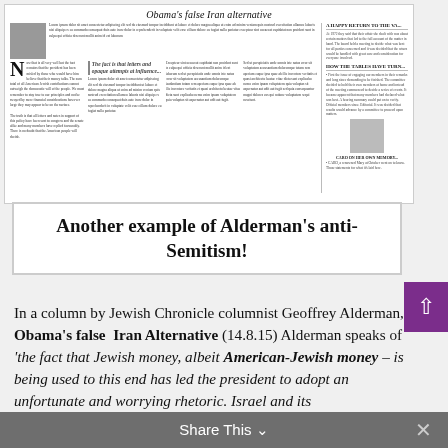[Figure (screenshot): Screenshot of a newspaper article from the Jewish Chronicle with the headline 'Obama's false Iran alternative' by Geoffrey Alderman. Shows author photo, multi-column text, a sidebar with a woman's photo, and headlines.]
Another example of Alderman's anti-Semitism!
In a column by Jewish Chronicle columnist Geoffrey Alderman, Obama's false Iran Alternative (14.8.15) Alderman speaks of 'the fact that Jewish money, albeit American-Jewish money – is being used to this end has led the president to adopt an unfortunate and worrying rhetoric. Israel and its